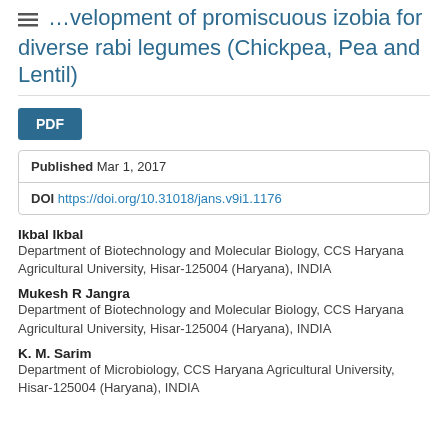...velopment of promiscuous izobia for diverse rabi legumes (Chickpea, Pea and Lentil)
[Figure (other): PDF button]
| Published | Mar 1, 2017 |
| DOI | https://doi.org/10.31018/jans.v9i1.1176 |
Ikbal Ikbal
Department of Biotechnology and Molecular Biology, CCS Haryana Agricultural University, Hisar-125004 (Haryana), INDIA
Mukesh R Jangra
Department of Biotechnology and Molecular Biology, CCS Haryana Agricultural University, Hisar-125004 (Haryana), INDIA
K. M. Sarim
Department of Microbiology, CCS Haryana Agricultural University, Hisar-125004 (Haryana), INDIA